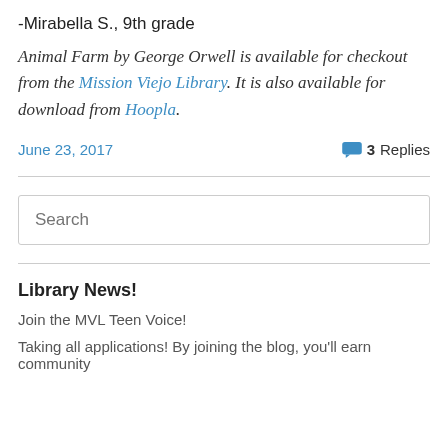-Mirabella S., 9th grade
Animal Farm by George Orwell is available for checkout from the Mission Viejo Library. It is also available for download from Hoopla.
June 23, 2017   3 Replies
Search
Library News!
Join the MVL Teen Voice!
Taking all applications! By joining the blog, you'll earn community